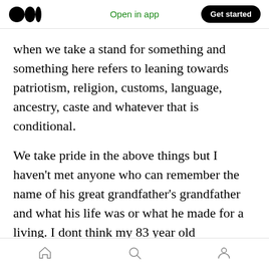Medium logo | Open in app | Get started
when we take a stand for something and something here refers to leaning towards patriotism, religion, customs, language, ancestry, caste and whatever that is conditional.
We take pride in the above things but I haven't met anyone who can remember the name of his great grandfather's grandfather and what his life was or what he made for a living. I dont think my 83 year old grandfather still thinks about his great grandfather these days.
You can be sure that 300 years from now your
Home | Search | Profile